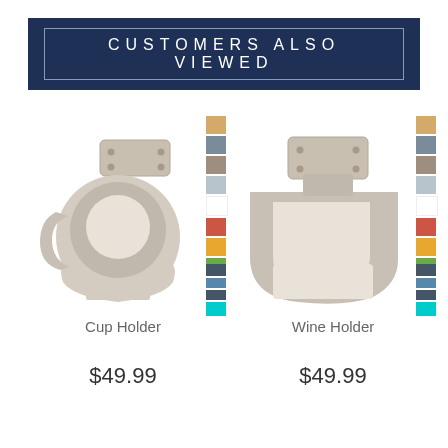CUSTOMERS ALSO VIEWED
[Figure (photo): Cup Holder product image - beige/grey plastic cup holder with mounting bracket, shown with color swatch strip]
Cup Holder
$49.99
[Figure (photo): Wine Holder product image - beige/grey plastic wine glass holder with mounting bracket, shown with color swatch strip]
Wine Holder
$49.99